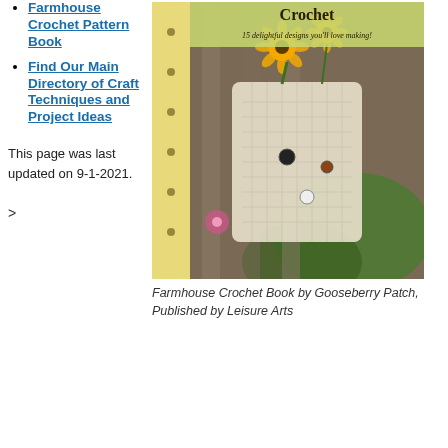Farmhouse Crochet Pattern Book
Find Our Main Directory of Craft Techniques and Project Ideas
[Figure (photo): Book cover of Farmhouse Crochet by Gooseberry Patch, published by Leisure Arts. Shows a crocheted tote bag with sunflowers hanging on a wooden fence, with a floral patterned border on the left side of the cover.]
Farmhouse Crochet Book by Gooseberry Patch, Published by Leisure Arts
This page was last updated on 9-1-2021.
>